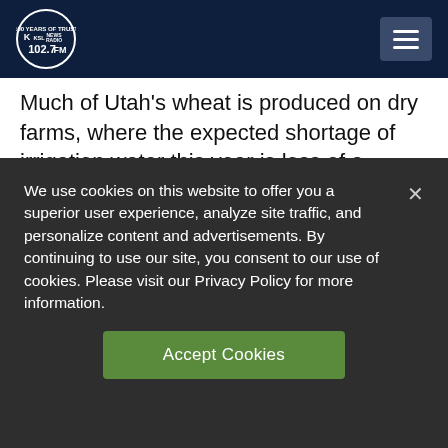[Figure (logo): KSL NewsRadio 102.7FM logo — white circle with KSL text and radio tower graphic, on dark navy background]
Much of Utah's wheat is produced on dry farms, where the expected shortage of irrigation water this year is less of a problem. But Larsen said an abundant crop still depends on spring rains.
"We are coming in with a little soil moisture
We use cookies on this website to offer you a superior user experience, analyze site traffic, and personalize content and advertisements. By continuing to use our site, you consent to our use of cookies. Please visit our Privacy Policy for more information.
Accept Cookies